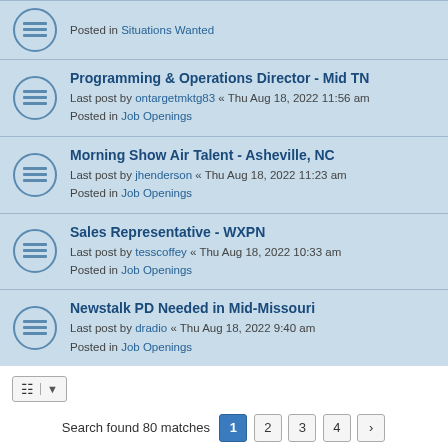Posted in Situations Wanted
Programming & Operations Director - Mid TN
Last post by ontargetmktg83 « Thu Aug 18, 2022 11:56 am
Posted in Job Openings
Morning Show Air Talent - Asheville, NC
Last post by jhenderson « Thu Aug 18, 2022 11:23 am
Posted in Job Openings
Sales Representative - WXPN
Last post by tesscoffey « Thu Aug 18, 2022 10:33 am
Posted in Job Openings
Newstalk PD Needed in Mid-Missouri
Last post by dradio « Thu Aug 18, 2022 9:40 am
Posted in Job Openings
Search found 80 matches  1 2 3 4 >
Jump to
Board index   All times are UTC-07:00
Powered by phpBB® Forum Software © phpBB Limited